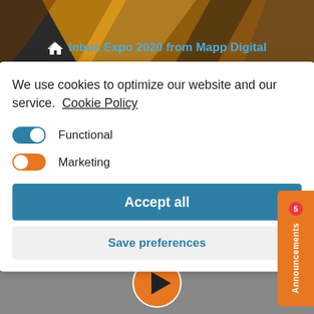Inbox Expo 2020 from Mapp Digital
We use cookies to optimize our website and our service.  Cookie Policy
Functional
Marketing
Accept all
Save preferences
Announcements